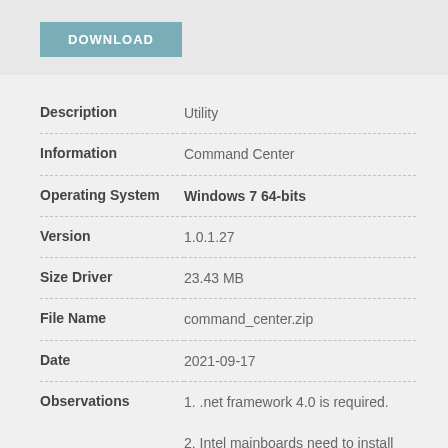[Figure (other): DOWNLOAD button (teal/blue-grey background, white bold text)]
| Field | Value |
| --- | --- |
| Description | Utility |
| Information | Command Center |
| Operating System | Windows 7 64-bits |
| Version | 1.0.1.27 |
| Size Driver | 23.43 MB |
| File Name | command_center.zip |
| Date | 2021-09-17 |
| Observations | 1. .net framework 4.0 is required.

2. Intel mainboards need to install Intel ME driver to enable CPU overclock- |
[Figure (other): DOWNLOAD button (teal/blue-grey background, white bold text)]